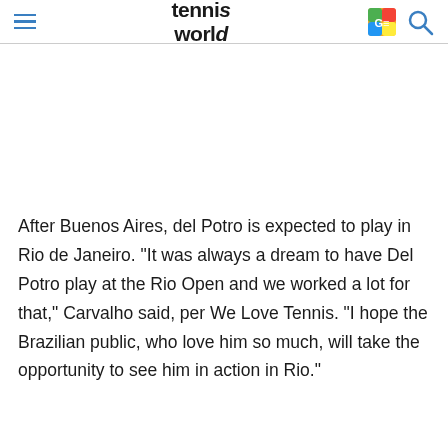tennis world
After Buenos Aires, del Potro is expected to play in Rio de Janeiro. "It was always a dream to have Del Potro play at the Rio Open and we worked a lot for that," Carvalho said, per We Love Tennis. "I hope the Brazilian public, who love him so much, will take the opportunity to see him in action in Rio."